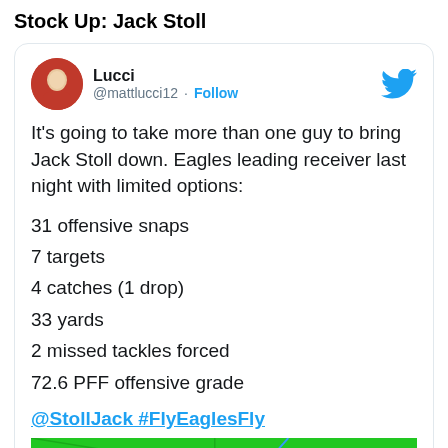Stock Up: Jack Stoll
[Figure (screenshot): Embedded tweet from @mattlucci12 (Lucci) with Twitter bird logo, avatar photo, Follow button, tweet text about Jack Stoll Eagles stats, hashtags, and a video thumbnail with Watch on Twitter button]
It's going to take more than one guy to bring Jack Stoll down. Eagles leading receiver last night with limited options:
31 offensive snaps
7 targets
4 catches (1 drop)
33 yards
2 missed tackles forced
72.6 PFF offensive grade
@StollJack #FlyEaglesFly